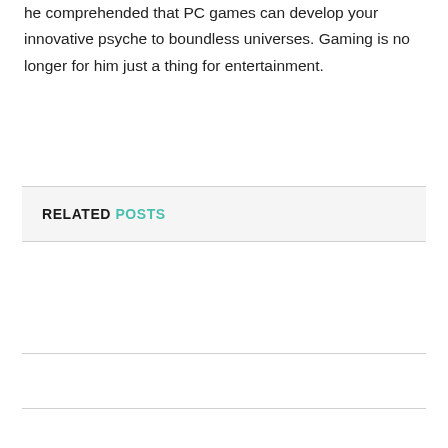he comprehended that PC games can develop your innovative psyche to boundless universes. Gaming is no longer for him just a thing for entertainment.
RELATED POSTS